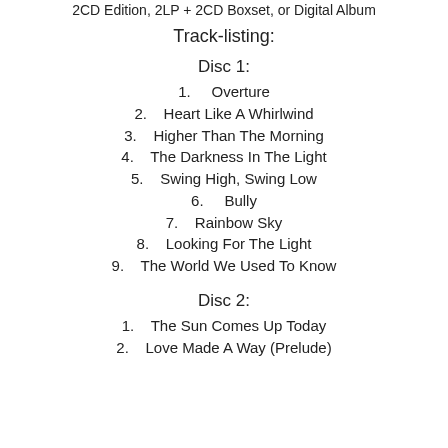2CD Edition, 2LP + 2CD Boxset, or Digital Album
Track-listing:
Disc 1:
1.    Overture
2.    Heart Like A Whirlwind
3.    Higher Than The Morning
4.    The Darkness In The Light
5.    Swing High, Swing Low
6.    Bully
7.    Rainbow Sky
8.    Looking For The Light
9.    The World We Used To Know
Disc 2:
1.    The Sun Comes Up Today
2.    Love Made A Way (Prelude)